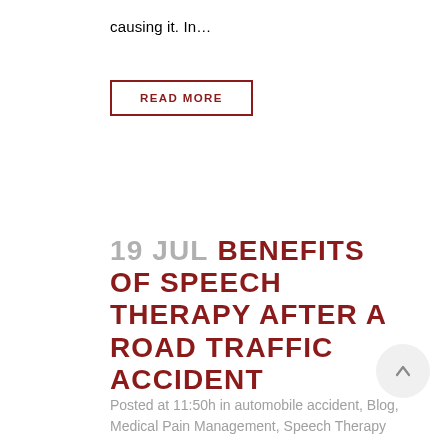causing it. In…
READ MORE
19 JUL BENEFITS OF SPEECH THERAPY AFTER A ROAD TRAFFIC ACCIDENT
Posted at 11:50h in automobile accident, Blog, Medical Pain Management, Speech Therapy